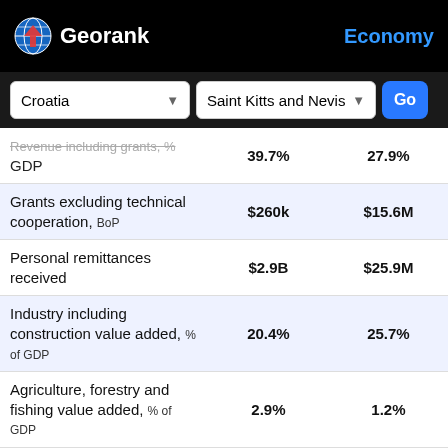Georank — Economy
Croatia | Saint Kitts and Nevis | Go
| Indicator | Croatia | Saint Kitts and Nevis |
| --- | --- | --- |
| Revenue including grants, % of GDP | 39.7% | 27.9% |
| Grants excluding technical cooperation, BoP | $260k | $15.6M |
| Personal remittances received | $2.9B | $25.9M |
| Industry including construction value added, % of GDP | 20.4% | 25.7% |
| Agriculture, forestry and fishing value added, % of GDP | 2.9% | 1.2% |
| Charges for the use of intellectual property, payments BoP | $309.7M | $1.8M |